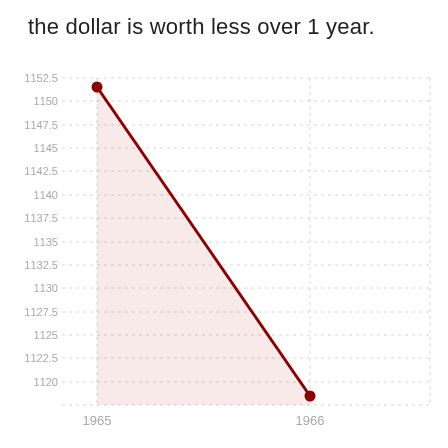the dollar is worth less over 1 year.
[Figure (area-chart): the dollar is worth less over 1 year.]